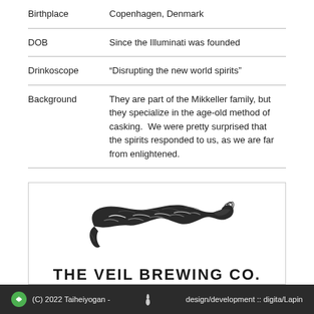| Field | Value |
| --- | --- |
| Birthplace | Copenhagen, Denmark |
| DOB | Since the Illuminati was founded |
| Drinkoscope | “Disrupting the new world spirits” |
| Background | They are part of the Mikkeller family, but they specialize in the age-old method of casking.  We were pretty surprised that the spirits responded to us, as we are far from enlightened. |
[Figure (logo): The Veil Brewing Co. logo: an illustrated hand holding a veil/cloth with the text THE VEIL BREWING CO. below in bold black capitals.]
(C) 2022 Taiheiyogan - design/development :: digita/Lapin